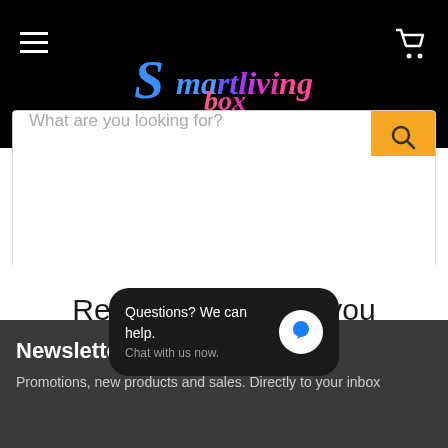Smartlivingbox
What are you looking for?
Recommended for you
Newsletter
Questions? We can help. Chat with us now.
Promotions, new products and sales. Directly to your inbox.